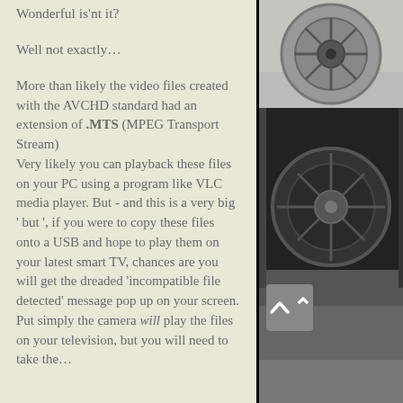Wonderful is'nt it?
Well not exactly…
More than likely the video files created with the AVCHD standard had an extension of .MTS (MPEG Transport Stream)
Very likely you can playback these files on your PC using a program like VLC media player. But - and this is a very big ' but ', if you were to copy these files onto a USB and hope to play them on your latest smart TV, chances are you will get the dreaded 'incompatible file detected' message pop up on your screen.
Put simply the camera will play the files on your television, but you will need to take the...
[Figure (photo): Black and white photo of film reels/tape reels stacked on the right side of the page]